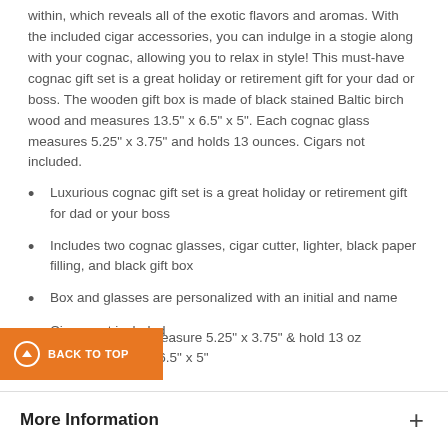within, which reveals all of the exotic flavors and aromas. With the included cigar accessories, you can indulge in a stogie along with your cognac, allowing you to relax in style! This must-have cognac gift set is a great holiday or retirement gift for your dad or boss. The wooden gift box is made of black stained Baltic birch wood and measures 13.5" x 6.5" x 5". Each cognac glass measures 5.25" x 3.75" and holds 13 ounces. Cigars not included.
Luxurious cognac gift set is a great holiday or retirement gift for dad or your boss
Includes two cognac glasses, cigar cutter, lighter, black paper filling, and black gift box
Box and glasses are personalized with an initial and name
Cigars not included
Cognac glasses measure 5.25" x 3.75" & hold 13 oz measures 13.5" x 6.5" x 5"
More Information